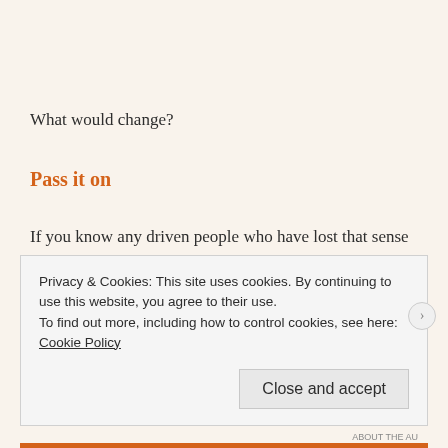What would change?
Pass it on
If you know any driven people who have lost that sense of fun and play, do pass on this article. And to make sure you don't miss updates, sign up at the right of the page.
Privacy & Cookies: This site uses cookies. By continuing to use this website, you agree to their use.
To find out more, including how to control cookies, see here: Cookie Policy